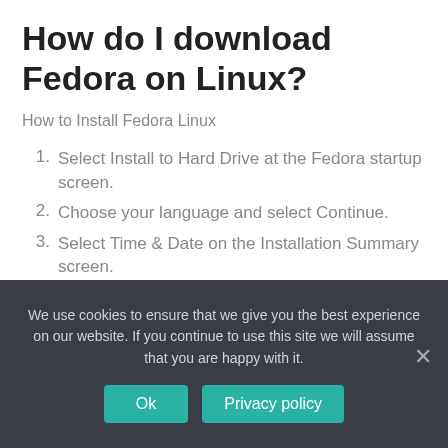How do I download Fedora on Linux?
How to Install Fedora Linux
Select Install to Hard Drive at the Fedora startup screen.
Choose your language and select Continue.
Select Time & Date on the Installation Summary screen.
Choose your time zone on the map and then select
We use cookies to ensure that we give you the best experience on our website. If you continue to use this site we will assume that you are happy with it.